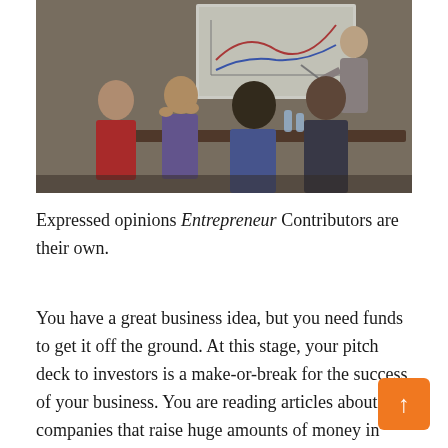[Figure (photo): A business presentation scene: a presenter stands near a projection screen showing a chart, while several seated people around a table watch and interact. Brick wall background.]
Expressed opinions Entrepreneur Contributors are their own.
You have a great business idea, but you need funds to get it off the ground. At this stage, your pitch deck to investors is a make-or-break for the success of your business. You are reading articles about companies that raise huge amounts of money in